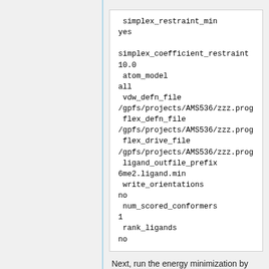simplex_restraint_min
yes

simplex_coefficient_restraint
10.0
 atom_model
all
 vdw_defn_file
/gpfs/projects/AMS536/zzz.prog
 flex_defn_file
/gpfs/projects/AMS536/zzz.prog
 flex_drive_file
/gpfs/projects/AMS536/zzz.prog
 ligand_outfile_prefix
6me2.ligand.min
 write_orientations
no
 num_scored_conformers
1
 rank_ligands
no
Next, run the energy minimization by